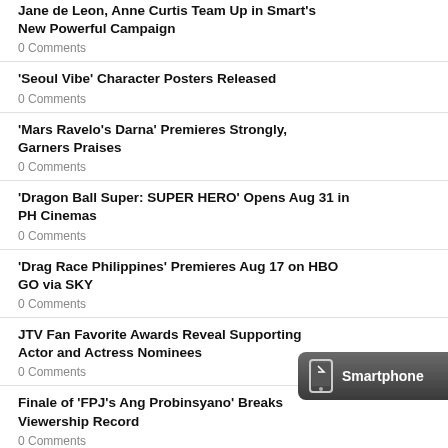Jane de Leon, Anne Curtis Team Up in Smart's New Powerful Campaign
0 Comments
'Seoul Vibe' Character Posters Released
0 Comments
'Mars Ravelo's Darna' Premieres Strongly, Garners Praises
0 Comments
'Dragon Ball Super: SUPER HERO' Opens Aug 31 in PH Cinemas
0 Comments
'Drag Race Philippines' Premieres Aug 17 on HBO GO via SKY
0 Comments
JTV Fan Favorite Awards Reveal Supporting Actor and Actress Nominees
0 Comments
Finale of 'FPJ's Ang Probinsyano' Breaks Viewership Record
0 Comments
Maymay, Out to Showcase Her Beauty and Savings in 'Slow...